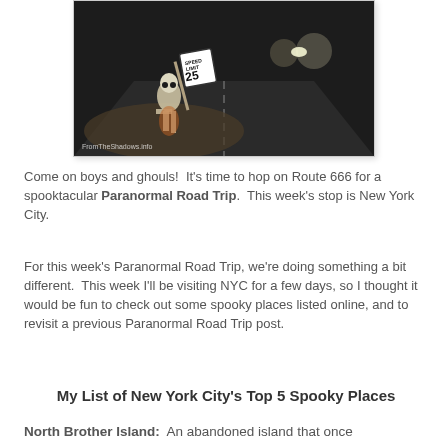[Figure (photo): A skeleton figure holding a Speed Limit 25 sign on a dark road at night, with car headlights in the background. Watermark reads 'FromTheShadows.info']
Come on boys and ghouls!  It's time to hop on Route 666 for a spooktacular Paranormal Road Trip.  This week's stop is New York City.
For this week's Paranormal Road Trip, we're doing something a bit different.  This week I'll be visiting NYC for a few days, so I thought it would be fun to check out some spooky places listed online, and to revisit a previous Paranormal Road Trip post.
My List of New York City's Top 5 Spooky Places
North Brother Island:  An abandoned island that once